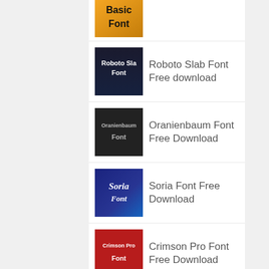[Figure (illustration): Partial thumbnail of Basic Font with golden/orange gradient background, bold black text saying 'Basic Font']
[Figure (illustration): Thumbnail for Roboto Slab Font with dark navy background and white text 'Roboto Slab Font']
Roboto Slab Font Free download
[Figure (illustration): Thumbnail for Oranienbaum Font with dark background and light text 'Oranienbaum Font']
Oranienbaum Font Free Download
[Figure (illustration): Thumbnail for Soria Font with blue gradient background and italic white text 'Soria Font']
Soria Font Free Download
[Figure (illustration): Thumbnail for Crimson Pro Font with dark red/crimson background and white text 'Crimson Pro Font']
Crimson Pro Font Free Download
[Figure (illustration): Partial thumbnail for Desire Pro Font with teal background]
Desire Pro Font Free